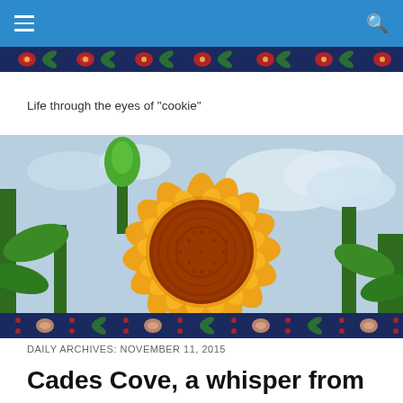navigation bar with hamburger menu and search icon
[Figure (illustration): Decorative floral banner with dark navy background, red flowers, green leaf patterns, and small yellow/white floral accents — top strip]
Life through the eyes of "cookie"
[Figure (photo): Close-up photograph of a large sunflower with orange-yellow petals and a dark reddish-brown center, green leaves and stems visible, cloudy blue sky background]
[Figure (illustration): Decorative floral banner with dark navy background, red flowers, green leaf patterns, and peach/orange floral accents — bottom strip]
DAILY ARCHIVES: NOVEMBER 11, 2015
Cades Cove, a whisper from